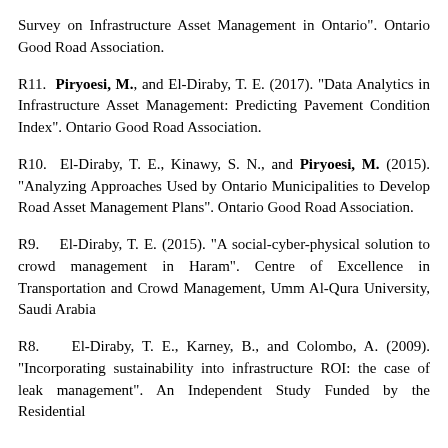Survey on Infrastructure Asset Management in Ontario". Ontario Good Road Association.
R11. Piryoesi, M., and El-Diraby, T. E. (2017). "Data Analytics in Infrastructure Asset Management: Predicting Pavement Condition Index". Ontario Good Road Association.
R10. El-Diraby, T. E., Kinawy, S. N., and Piryoesi, M. (2015). "Analyzing Approaches Used by Ontario Municipalities to Develop Road Asset Management Plans". Ontario Good Road Association.
R9. El-Diraby, T. E. (2015). "A social-cyber-physical solution to crowd management in Haram". Centre of Excellence in Transportation and Crowd Management, Umm Al-Qura University, Saudi Arabia
R8. El-Diraby, T. E., Karney, B., and Colombo, A. (2009). "Incorporating sustainability into infrastructure ROI: the case of leak management". An Independent Study Funded by the Residential